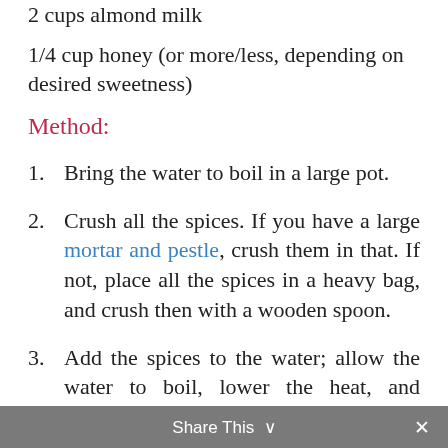2 cups almond milk
1/4 cup honey (or more/less, depending on desired sweetness)
Method:
1. Bring the water to boil in a large pot.
2. Crush all the spices. If you have a large mortar and pestle, crush them in that. If not, place all the spices in a heavy bag, and crush then with a wooden spoon.
3. Add the spices to the water; allow the water to boil, lower the heat, and simmer for approximately 15 minutes.
4. Turn off the heat; add the loose tea or
Share This ×